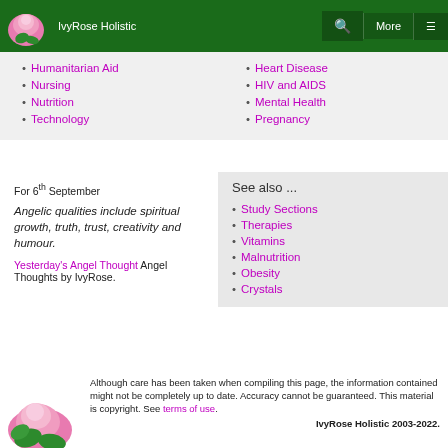IvyRose Holistic
Humanitarian Aid
Nursing
Nutrition
Technology
Heart Disease
HIV and AIDS
Mental Health
Pregnancy
For 6th September
Angelic qualities include spiritual growth, truth, trust, creativity and humour.
Yesterday's Angel Thought Angel Thoughts by IvyRose.
See also ...
Study Sections
Therapies
Vitamins
Malnutrition
Obesity
Crystals
Although care has been taken when compiling this page, the information contained might not be completely up to date. Accuracy cannot be guaranteed. This material is copyright. See terms of use.
IvyRose Holistic 2003-2022.